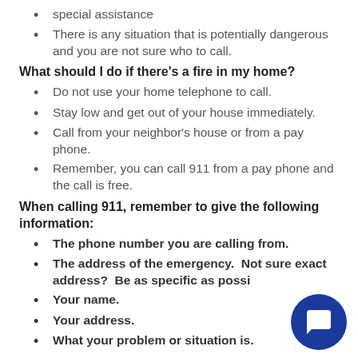special assistance
There is any situation that is potentially dangerous and you are not sure who to call.
What should I do if there's a fire in my home?
Do not use your home telephone to call.
Stay low and get out of your house immediately.
Call from your neighbor's house or from a pay phone.
Remember, you can call 911 from a pay phone and the call is free.
When calling 911, remember to give the following information:
The phone number you are calling from.
The address of the emergency.  Not sure exact address?  Be as specific as possi…
Your name.
Your address.
What your problem or situation is.